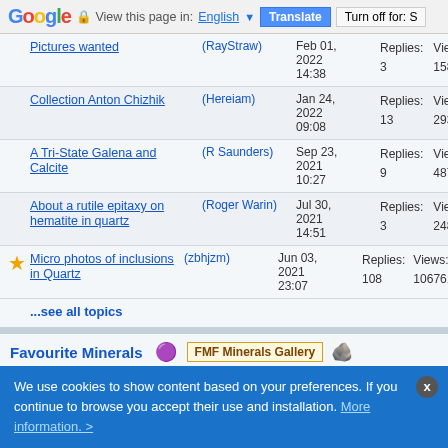Google — View this page in: English [▼] [Translate] [Turn off for: S]
Pictures wanted (RayStraw) Feb 01, 2022 14:38 Replies: 3 Views: 1582
Collection Anton Chizhik (Hereiam) Jan 24, 2022 09:08 Replies: 13 Views: 2936
A Tri-State Galena and Calcite (R Saunders) Sep 23, 2021 10:27 Replies: 9 Views: 4873
About a rutile epitaxy on hematite in quartz (Roger Warin) Jul 30, 2021 14:51 Replies: 3 Views: 2480
★ Micro photos of inclusions in Quartz (zbhjzm) Jun 03, 2021 23:07 Replies: 108 Views: 106761
...see all topics
Favourite Minerals — FMF Minerals Gallery
In this forum you can add your favourite localities and minerals. When a mineral comes from many hundreds, or thousands, of places it's worth comparing favourites to identify the most desired ones.This section is special because all the photos published here also appear in "FMF Gallery". To find out more please use this link   Moderators Tobi, Mathias
Favourite mineral  May 08,  Replies:  Views:
We use cookies to show content based on your preferences. If you continue to browse you accept their use and installation. More information. >